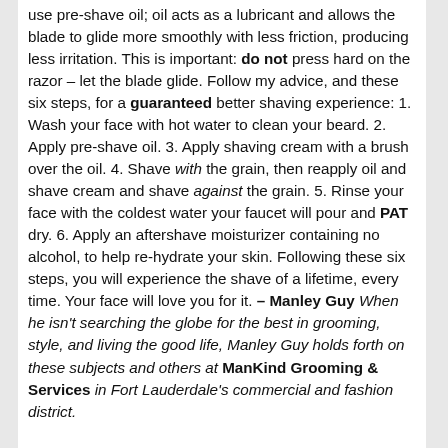use pre-shave oil; oil acts as a lubricant and allows the blade to glide more smoothly with less friction, producing less irritation. This is important: do not press hard on the razor – let the blade glide. Follow my advice, and these six steps, for a guaranteed better shaving experience: 1. Wash your face with hot water to clean your beard. 2. Apply pre-shave oil. 3. Apply shaving cream with a brush over the oil. 4. Shave with the grain, then reapply oil and shave cream and shave against the grain. 5. Rinse your face with the coldest water your faucet will pour and PAT dry. 6. Apply an aftershave moisturizer containing no alcohol, to help re-hydrate your skin. Following these six steps, you will experience the shave of a lifetime, every time. Your face will love you for it. – Manley Guy When he isn't searching the globe for the best in grooming, style, and living the good life, Manley Guy holds forth on these subjects and others at ManKind Grooming & Services in Fort Lauderdale's commercial and fashion district.